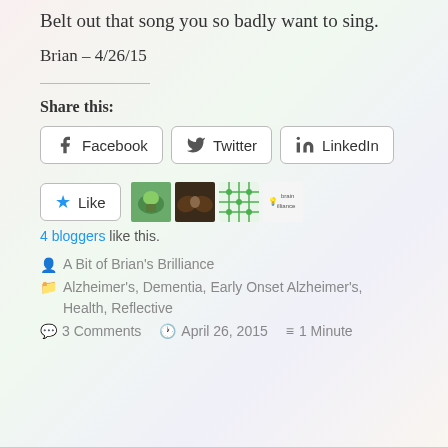Belt out that song you so badly want to sing.
Brian – 4/26/15
Share this:
Facebook  Twitter  LinkedIn
Like  4 bloggers like this.
A Bit of Brian's Brilliance
Alzheimer's, Dementia, Early Onset Alzheimer's, Health, Reflective
3 Comments   April 26, 2015   1 Minute